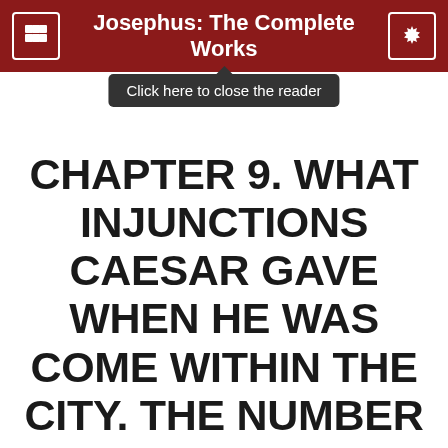Josephus: The Complete Works
Click here to close the reader
CHAPTER 9. WHAT INJUNCTIONS CAESAR GAVE WHEN HE WAS COME WITHIN THE CITY. THE NUMBER OF THE CAPTIVES AND OF THOSE THAT PERISHED IN THE SIEGE; AS ALSO CONCERNING THOSE